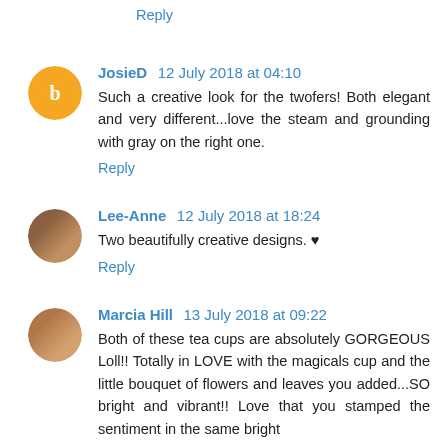Reply
JosieD 12 July 2018 at 04:10
Such a creative look for the twofers! Both elegant and very different...love the steam and grounding with gray on the right one.
Reply
Lee-Anne 12 July 2018 at 18:24
Two beautifully creative designs. ♥
Reply
Marcia Hill 13 July 2018 at 09:22
Both of these tea cups are absolutely GORGEOUS Loll!! Totally in LOVE with the magicals cup and the little bouquet of flowers and leaves you added...SO bright and vibrant!! Love that you stamped the sentiment in the same bright